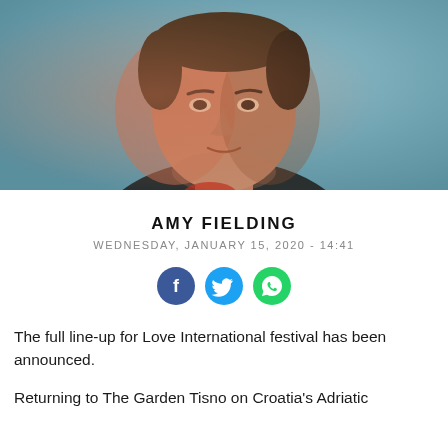[Figure (photo): Close-up portrait of a young man with short hair against a teal/blue-grey background, with warm light on one side of his face, wearing a dark jacket]
AMY FIELDING
WEDNESDAY, JANUARY 15, 2020 - 14:41
[Figure (infographic): Three social media share icons: Facebook (blue circle with f), Twitter (cyan circle with bird), WhatsApp (green circle with phone handset)]
The full line-up for Love International festival has been announced.
Returning to The Garden Tisno on Croatia's Adriatic